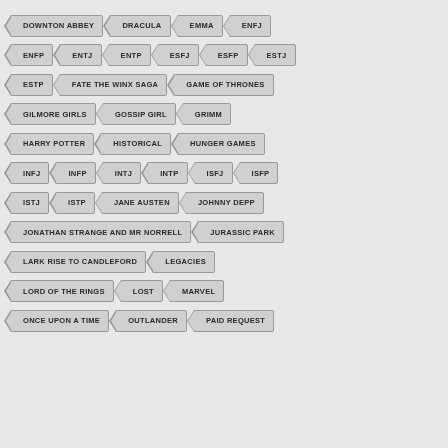DOWNTON ABBEY
DRACULA
EMMA
ENFJ
ENFP
ENTJ
ENTP
ESFJ
ESFP
ESTJ
ESTP
FATE THE WINX SAGA
GAME OF THRONES
GILMORE GIRLS
GOSSIP GIRL
GRIMM
HARRY POTTER
HISTORICAL
HUNGER GAMES
INFJ
INFP
INTJ
INTP
ISFJ
ISFP
ISTJ
ISTP
JANE AUSTEN
JOHNNY DEPP
JONATHAN STRANGE AND MR NORRELL
JURASSIC PARK
LARK RISE TO CANDLEFORD
LEGACIES
LORD OF THE RINGS
LOST
MARVEL
ONCE UPON A TIME
OUTLANDER
PAID REQUEST